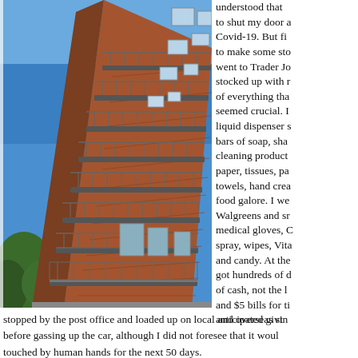[Figure (photo): Photo of a tall red brick apartment building with multiple balconies and metal railings, photographed from below against a bright blue sky, with a tree visible at lower left.]
understood that to shut my door a Covid-19. But fi to make some sto went to Trader Jo stocked up with r of everything tha seemed crucial. I liquid dispenser s bars of soap, sha cleaning product paper, tissues, pa towels, hand crea food galore. I we Walgreens and sr medical gloves, C spray, wipes, Vita and candy. At the got hundreds of d of cash, not the l and $5 bills for ti anticipated givin stopped by the post office and loaded up on local and overseas st before gassing up the car, although I did not foresee that it woul touched by human hands for the next 50 days.